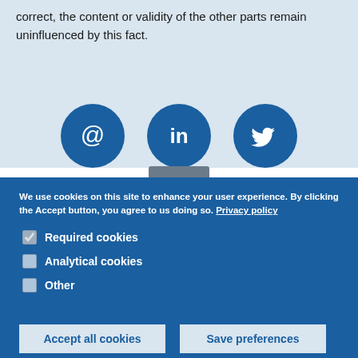correct, the content or validity of the other parts remain uninfluenced by this fact.
[Figure (illustration): Three social media icon circles: email (@), LinkedIn (in), Twitter (bird)]
We use cookies on this site to enhance your user experience. By clicking the Accept button, you agree to us doing so. Privacy policy
Required cookies (checked)
Analytical cookies (unchecked)
Other (unchecked)
Accept all cookies
Save preferences